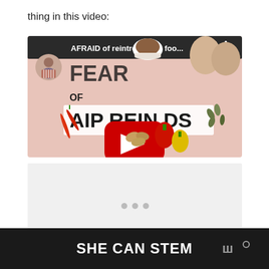thing in this video:
[Figure (screenshot): YouTube video thumbnail for 'AFRAID of reintroducing foo...' showing AIP Reintroductions text with foods including almonds, peppers, chili peppers, eggs, coffee, and pumpkin seeds on a pink background. A red YouTube play button is overlaid in the center.]
[Figure (other): Advertisement placeholder block with three dots indicator]
SHE CAN STEM